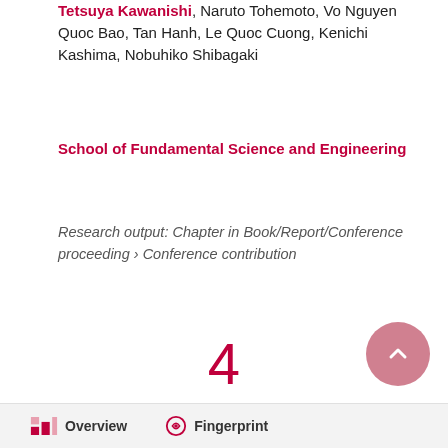Tetsuya Kawanishi, Naruto Tohemoto, Vo Nguyen Quoc Bao, Tan Hanh, Le Quoc Cuong, Kenichi Kashima, Nobuhiko Shibagaki
School of Fundamental Science and Engineering
Research output: Chapter in Book/Report/Conference proceeding › Conference contribution
4
Citations
(Scopus)
Overview   Fingerprint